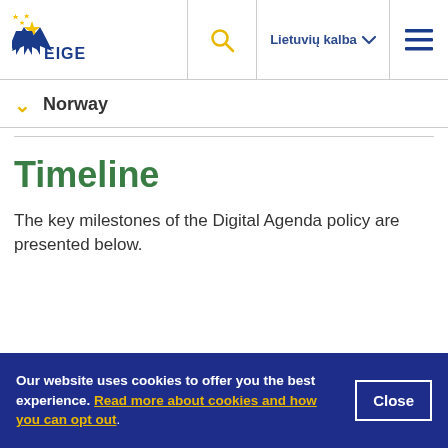EIGE | Lietuvių kalba
Norway
Timeline
The key milestones of the Digital Agenda policy are presented below.
Our website uses cookies to offer you the best experience. Read more about cookies and how you can opt out.